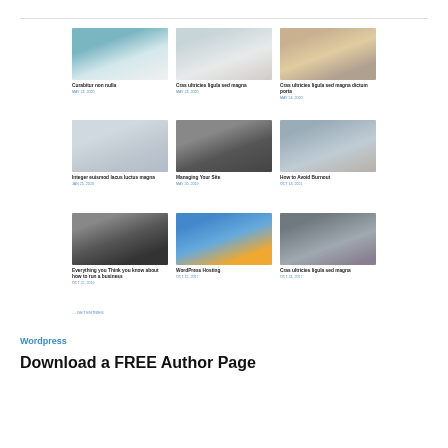[Figure (photo): Interior room with shelves and curtain]
Curabitur non nulla
MAY 23, 2020
[Figure (photo): White sofa with cushion]
Cras ultricies ligula sed magna
MAY 23, 2020
[Figure (photo): City street with people walking]
Cras ultricies ligula sed magna dictum porta
MAY 24, 2020
[Figure (photo): Office desk with computer]
Integer euismod lacus luctus magna
JAN 25, 2020
[Figure (photo): Hand holding smartphone]
Managing Your Site
MAY 20, 2019
[Figure (photo): Person sitting by window]
How to Avoid Burnout
OCT 13, 2021
[Figure (photo): Business people at table]
Everything you Think you know about how to run a business
OCT 22, 2019
[Figure (illustration): WordPress hosting cloud illustration]
WordPress Hosting
OCT 15, 2017
[Figure (photo): Woman sitting and smiling]
Cras ultricies ligula sed magna
OCT 24, 2017
... GET ENTRIES
Wordpress
Download a FREE Author Page